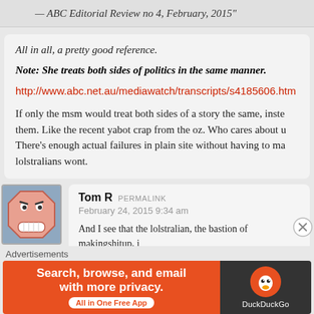— ABC Editorial Review no 4, February, 2015"
All in all, a pretty good reference.
Note: She treats both sides of politics in the same manner.
http://www.abc.net.au/mediawatch/transcripts/s4185606.htm
If only the msm would treat both sides of a story the same, inste them. Like the recent yabot crap from the oz. Who cares about u There's enough actual failures in plain site without having to ma lolstralians wont.
Tom R  PERMALINK
February 24, 2015 9:34 am
And I see that the lolstralian, the bastion of makingshitup, i
Advertisements
Search, browse, and email with more privacy. All in One Free App
DuckDuckGo